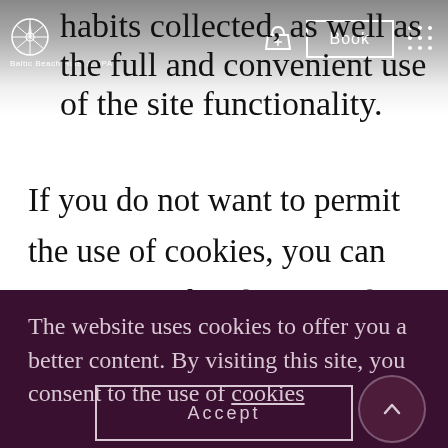Baltic Beach Hotel & SPA — navigation header with logo, basket, Book button, and menu dots
habits collected, as well as the full and convenient use of the site functionality.
If you do not want to permit the use of cookies, you can terminate it by changing the settings of your internet browser, but in such a case the use of our website may be disturbed and encumbered. The
The website uses cookies to offer you a better content. By visiting this site, you consent to the use of cookies
Accept